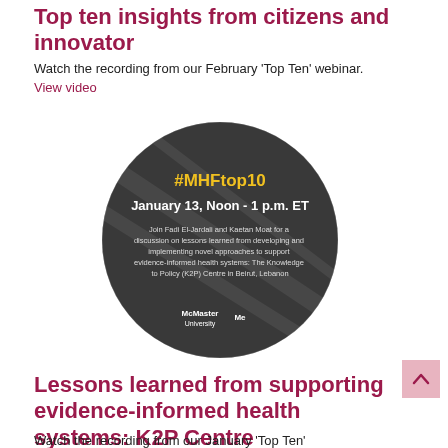Top ten insights from citizens and innovator
Watch the recording from our February ‘Top Ten’ webinar.
View video
[Figure (illustration): Circular dark promotional graphic for #MHFtop10 webinar. Text reads: '#MHFtop10', 'January 13, Noon - 1 p.m. ET', 'Join Fadi El-Jardali and Kaetan Moat for a discussion on lessons learned from developing and implementing novel approaches to support evidence-informed health systems: The Knowledge to Policy (K2P) Centre in Beirut, Lebanon', with McMaster University logo at the bottom.]
Lessons learned from supporting evidence-informed health systems: K2P Centre
Watch the recording from our January ‘Top Ten’